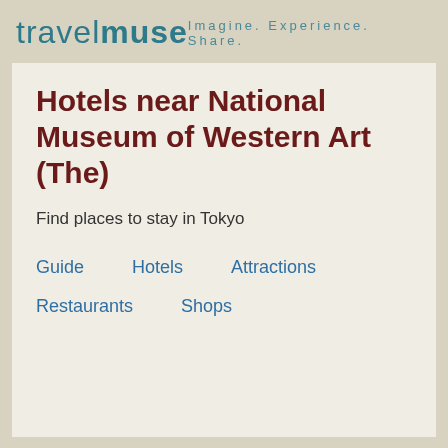travelmuse — Imagine. Experience. Share.
Hotels near National Museum of Western Art (The)
Find places to stay in Tokyo
Guide
Hotels
Attractions
Restaurants
Shops